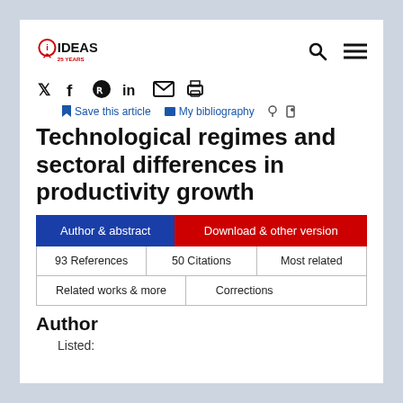IDEAS — 25 Years
Technological regimes and sectoral differences in productivity growth
Author & abstract | Download & other version | 93 References | 50 Citations | Most related | Related works & more | Corrections
Author
Listed: